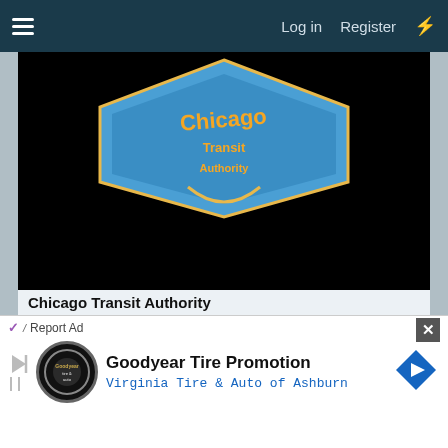≡   Log in   Register   ⚡
[Figure (photo): Album cover image for Chicago Transit Authority — mostly black background with a blue and yellow logo/emblem visible at the top center showing stylized orange text on a blue diamond/ribbon shape.]
Chicago Transit Authority
Greatest debut album ever IMHO.
Heck, probably top 10 period in my books.
This is my third copy (I have the two disc fat boy C2K-8, and on Bluray as part of the Quadio set).
[Figure (screenshot): Advertisement banner: Report Ad button with checkmark icon and close X button. Goodyear Tire Promotion ad for Virginia Tire & Auto of Ashburn, with Goodyear tire logo circle on left, text in center, and blue diamond arrow on right, with play/skip buttons.]